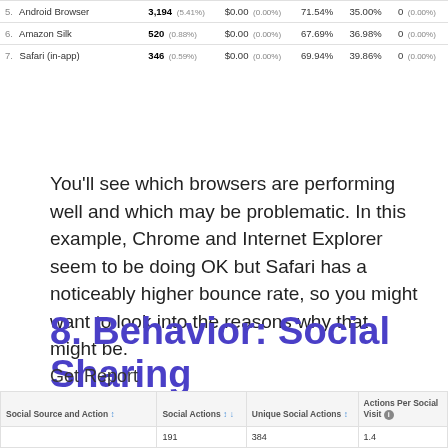|  | Browser | Sessions |  | Revenue |  | Bounce Rate | % New Sessions | Goal Completions |
| --- | --- | --- | --- | --- | --- | --- | --- | --- |
| 5. | Android Browser | 3,194 | (5.41%) | $0.00 | (0.00%) | 71.54% | 35.00% | 0 (0.00%) |
| 6. | Amazon Silk | 520 | (0.88%) | $0.00 | (0.00%) | 67.69% | 36.98% | 0 (0.00%) |
| 7. | Safari (in-app) | 346 | (0.59%) | $0.00 | (0.00%) | 69.94% | 39.86% | 0 (0.00%) |
You'll see which browsers are performing well and which may be problematic. In this example, Chrome and Internet Explorer seem to be doing OK but Safari has a noticeably higher bounce rate, so you might want to look into the reasons why that might be.
8. Behavior: Social Sharing
Get Report
This four tab report reveals social engagement with your website's content.
| Social Source and Action | Social Actions | Unique Social Actions | Actions Per Social Visit |
| --- | --- | --- | --- |